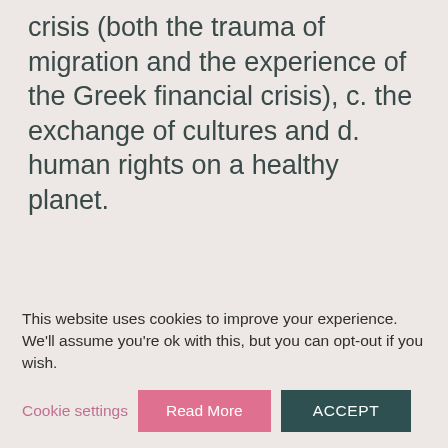crisis (both the trauma of migration and the experience of the Greek financial crisis), c. the exchange of cultures and d. human rights on a healthy planet.
Landscape: organised and carried out Mobile Daily Actions to raise awareness and inform citizens of Northern
This website uses cookies to improve your experience. We'll assume you're ok with this, but you can opt-out if you wish.